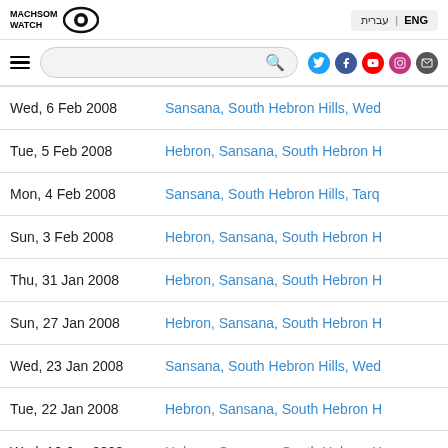Machsom Watch | ENG | עברית
| Date | Locations |
| --- | --- |
| Wed, 6 Feb 2008 | Sansana, South Hebron Hills, Wed... |
| Tue, 5 Feb 2008 | Hebron, Sansana, South Hebron H... |
| Mon, 4 Feb 2008 | Sansana, South Hebron Hills, Tarq... |
| Sun, 3 Feb 2008 | Hebron, Sansana, South Hebron H... |
| Thu, 31 Jan 2008 | Hebron, Sansana, South Hebron H... |
| Sun, 27 Jan 2008 | Hebron, Sansana, South Hebron H... |
| Wed, 23 Jan 2008 | Sansana, South Hebron Hills, Wed... |
| Tue, 22 Jan 2008 | Hebron, Sansana, South Hebron H... |
| Wed, 16 Jan 2008 | Hebron, Sansana, South Hebron H... |